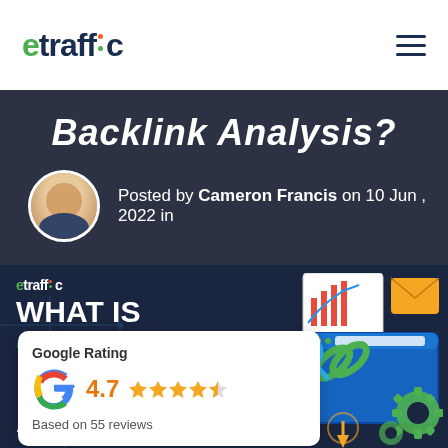etraffic
Backlink Analysis?
Posted by Cameron Francis on 10 Jun , 2022 in
[Figure (infographic): Dark navy infographic banner showing 'WHAT IS COMPETITOR BACKLINK ANALYSIS?' with etraffic logo, circuit board background, browser/monitor illustration with chain links, gear icons, envelope icon, and chart graphic. Overlaid Google Rating popup showing 4.7 stars based on 55 reviews.]